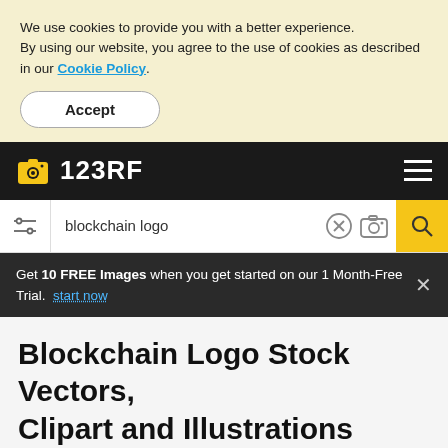We use cookies to provide you with a better experience. By using our website, you agree to the use of cookies as described in our Cookie Policy.
Accept
123RF
blockchain logo
Get 10 FREE Images when you get started on our 1 Month-Free Trial. start now
Blockchain Logo Stock Vectors, Clipart and Illustrations
Media Type: Illustrations ×